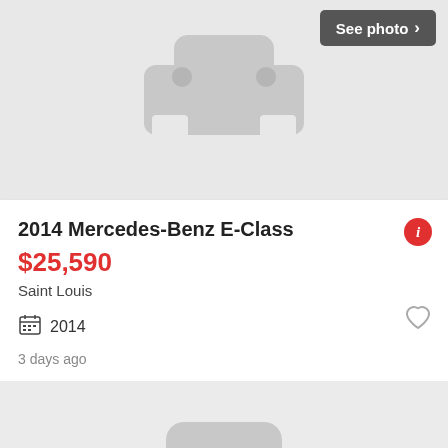[Figure (illustration): Car placeholder icon on light gray background with See photo button]
2014 Mercedes-Benz E-Class
$25,590
Saint Louis
2014
3 days ago
[Figure (illustration): Car placeholder icon on light gray background with See photo button]